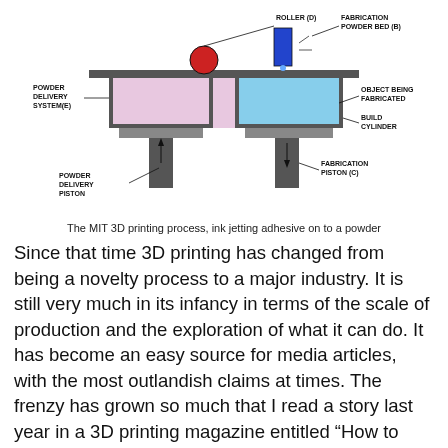[Figure (schematic): Diagram of the MIT 3D printing process showing: Roller (D), Fabrication Powder Bed (B), Powder Delivery System (E), Object Being Fabricated, Build Cylinder, Fabrication Piston (C), Powder Delivery Piston]
The MIT 3D printing process, ink jetting adhesive on to a powder
Since that time 3D printing has changed from being a novelty process to a major industry. It is still very much in its infancy in terms of the scale of production and the exploration of what it can do. It has become an easy source for media articles, with the most outlandish claims at times. The frenzy has grown so much that I read a story last year in a 3D printing magazine entitled “How to hype your 3D technology”! Many expect it to lead to a new industrial revolution, transforming the